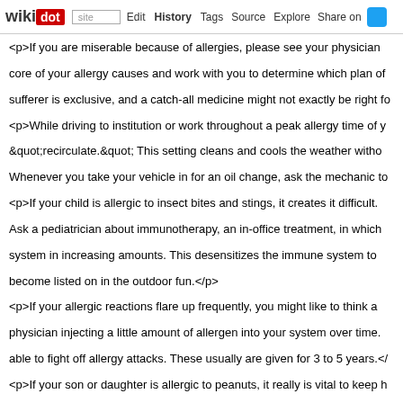wikidot | site | Edit | History | Tags | Source | Explore | Share on
<p>If you are miserable because of allergies, please see your physician core of your allergy causes and work with you to determine which plan of sufferer is exclusive, and a catch-all medicine might not exactly be right fo
<p>While driving to institution or work throughout a peak allergy time of y &quot;recirculate.&quot; This setting cleans and cools the weather witho Whenever you take your vehicle in for an oil change, ask the mechanic to
<p>If your child is allergic to insect bites and stings, it creates it difficult. Ask a pediatrician about immunotherapy, an in-office treatment, in which system in increasing amounts. This desensitizes the immune system to become listed on in the outdoor fun.</p>
<p>If your allergic reactions flare up frequently, you might like to think a physician injecting a little amount of allergen into your system over time. able to fight off allergy attacks. These usually are given for 3 to 5 years.</
<p>If your son or daughter is allergic to peanuts, it really is vital to keep h principal and all trained teachers to ensure they are aware of the allergy. all the bases. Many foods contain &quot;concealed&quot; peanut oils o crackers contain peanut item, so be diligent, for your child's sake.</p>
<p>Time your outings. Statistics have displayed that pollen count is humidity. The worst times to be outside are between 10 each morning an are windy, hot and dry. So if you need to spend some time outdoors really
<p>Dust your home at least once a week. This will help get rid of allergen in hot water. If Tricks On How To REMOVE Arthritis cannot wash them, h